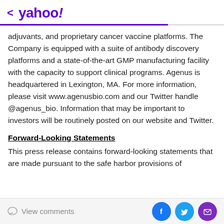< yahoo!
adjuvants, and proprietary cancer vaccine platforms. The Company is equipped with a suite of antibody discovery platforms and a state-of-the-art GMP manufacturing facility with the capacity to support clinical programs. Agenus is headquartered in Lexington, MA. For more information, please visit www.agenusbio.com and our Twitter handle @agenus_bio. Information that may be important to investors will be routinely posted on our website and Twitter.
Forward-Looking Statements
This press release contains forward-looking statements that are made pursuant to the safe harbor provisions of
View comments